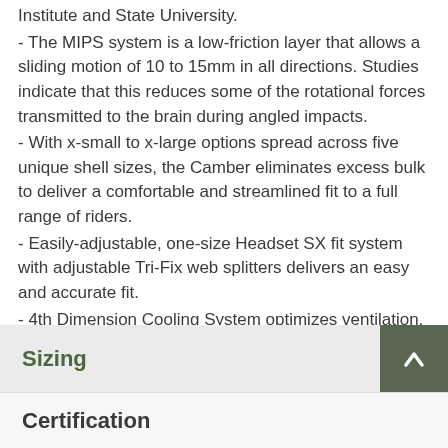Institute and State University.
- The MIPS system is a low-friction layer that allows a sliding motion of 10 to 15mm in all directions. Studies indicate that this reduces some of the rotational forces transmitted to the brain during angled impacts.
- With x-small to x-large options spread across five unique shell sizes, the Camber eliminates excess bulk to deliver a comfortable and streamlined fit to a full range of riders.
- Easily-adjustable, one-size Headset SX fit system with adjustable Tri-Fix web splitters delivers an easy and accurate fit.
- 4th Dimension Cooling System optimizes ventilation.
- In-molded shell improves strength and reduces weight.
- This helmet is ANGi ready, with a fit system mount designed for easy integration with our ANGi crash sensor.
- Average weight: 370 grams (medium).
Sizing
Certification